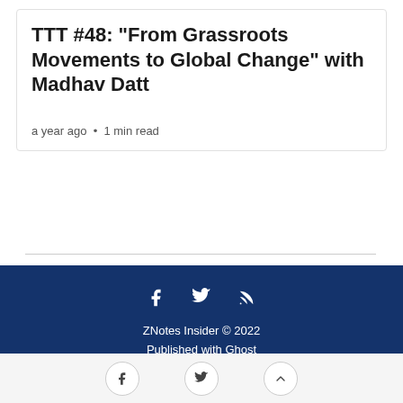TTT #48: "From Grassroots Movements to Global Change" with Madhav Datt
a year ago • 1 min read
ZNotes Insider © 2022
Published with Ghost
JavaScript license information